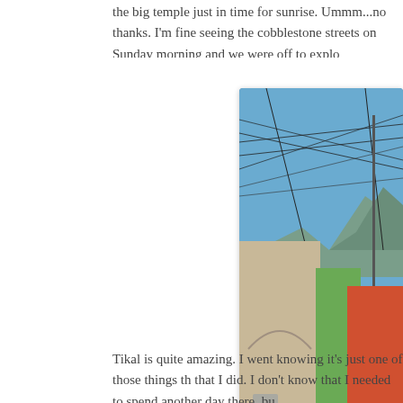the big temple just in time for sunrise.  Ummm...no thanks.  I'm fine seeing the cobblestone streets on Sunday morning and we were off to explo
[Figure (photo): A cobblestone street in what appears to be Antigua, Guatemala, with colorful buildings on the right side including beige and green facades. Power lines criss-cross above. A lone figure walks down the street. Mountains are visible in the background under a clear blue sky.]
Tikal is quite amazing.  I went knowing it's just one of those things th that I did.  I don't know that I needed to spend another day there, bu